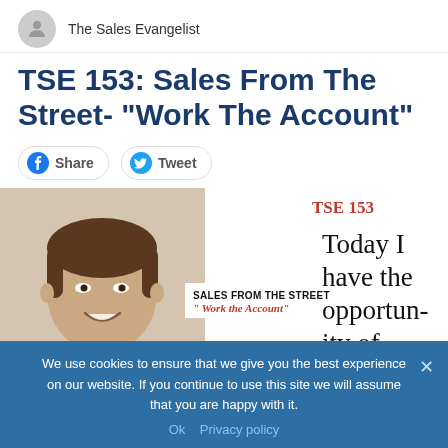The Sales Evangelist
TSE 153: Sales From The Street- “Work The Account”
Share
Tweet
[Figure (photo): Podcast card image with man smiling and text SALES FROM THE STREET "Work the Account" with TSE 153 label]
Today I have the opportunity of
We use cookies to ensure that we give you the best experience on our website. If you continue to use this site we will assume that you are happy with it.
Ok  Privacy policy